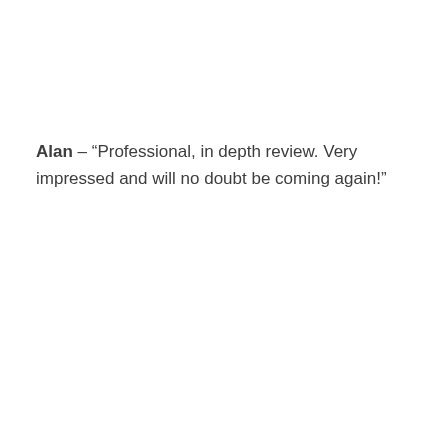Alan – “Professional, in depth review. Very impressed and will no doubt be coming again!”